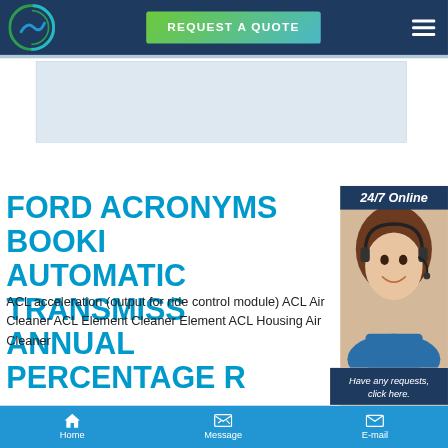REQUEST A QUOTE
FORD ACRONYMS BOOKI AUTOMATIC TRANSMISS ANNUAL PERCENTAGE R
ACL acceleration (output for ride control module) ACL Air Cleaner ACL Element Cleaner Element ACL Housing Air Cleaner
Home  Message  E-mail